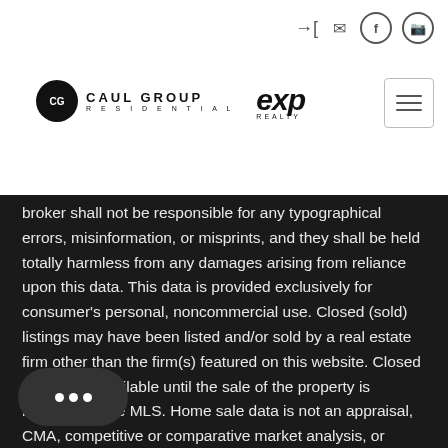Caul Group Residential / eXp Realty header with navigation icons
broker shall not be responsible for any typographical errors, misinformation, or misprints, and they shall be held totally harmless from any damages arising from reliance upon this data. This data is provided exclusively for consumer's personal, noncommercial use. Closed (sold) listings may have been listed and/or sold by a real estate firm other than the firm(s) featured on this website. Closed data is not available until the sale of the property is recorded in the MLS. Home sale data is not an appraisal, CMA, competitive or comparative market analysis, or home valuation of any property. Listings marked with an icon are courtesy of the Triangle MLS, Inc. of North Carolina, Exchange Database. This site is monitored for scraping. Any use of listing data obtained from this web site, other